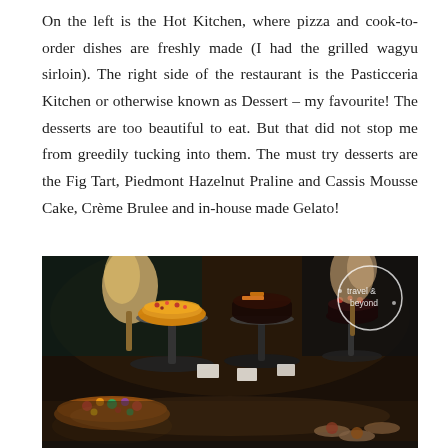On the left is the Hot Kitchen, where pizza and cook-to-order dishes are freshly made (I had the grilled wagyu sirloin). The right side of the restaurant is the Pasticceria Kitchen or otherwise known as Dessert – my favourite! The desserts are too beautiful to eat. But that did not stop me from greedily tucking into them. The must try desserts are the Fig Tart, Piedmont Hazelnut Praline and Cassis Mousse Cake, Crème Brulee and in-house made Gelato!
[Figure (photo): A restaurant dessert display with various cakes and tarts on black elevated stands and plates. Includes a golden tart, a dark chocolate decorated cake, various small tarts with fruit toppings in the foreground. A circular 'travel & beyond' logo watermark is visible in the top right. Background is dark/dimly lit.]